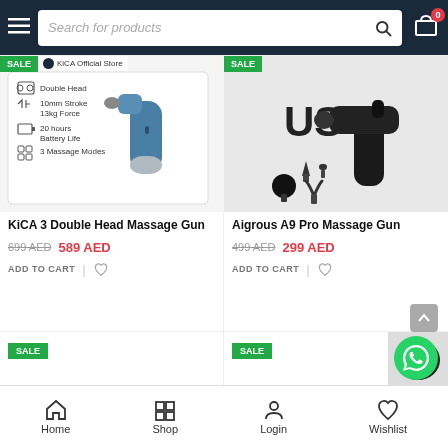Search for products
[Figure (photo): KiCA 3 Double Head Massage Gun product image with features listed: Double Head, 10mm Stroke 13kg Force, 20 hours Battery Life, 3 Massage Modes. Blue/silver device shown. SALE badge and KiCA Official Store label.]
KiCA 3 Double Head Massage Gun
699 AED  589 AED
ADD TO CART
[Figure (photo): Aigrous A9 Pro Massage Gun product image showing black massage gun with multiple attachments including ball, cone, flat, and fork heads. SALE badge visible.]
Aigrous A9 Pro Massage Gun
499 AED  299 AED
ADD TO CART
SALE
SALE
Home  Shop  Login  Wishlist